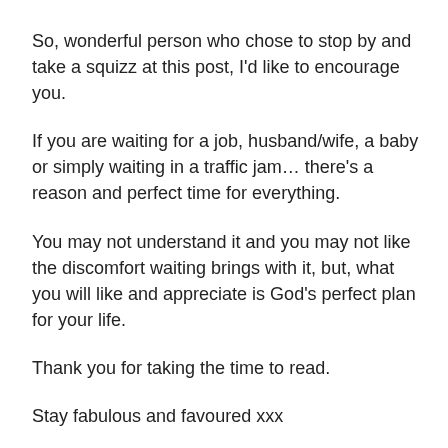So, wonderful person who chose to stop by and take a squizz at this post, I'd like to encourage you.
If you are waiting for a job, husband/wife, a baby or simply waiting in a traffic jam… there's a reason and perfect time for everything.
You may not understand it and you may not like the discomfort waiting brings with it, but, what you will like and appreciate is God's perfect plan for your life.
Thank you for taking the time to read.
Stay fabulous and favoured xxx